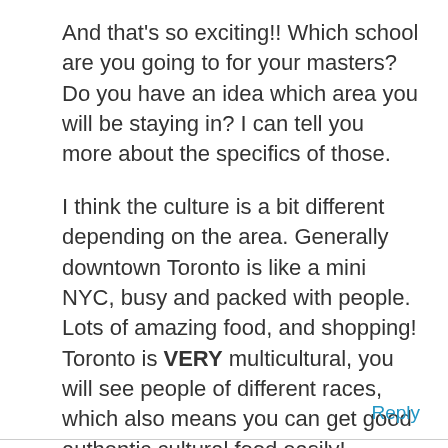And that's so exciting!! Which school are you going to for your masters? Do you have an idea which area you will be staying in? I can tell you more about the specifics of those.
I think the culture is a bit different depending on the area. Generally downtown Toronto is like a mini NYC, busy and packed with people. Lots of amazing food, and shopping! Toronto is VERY multicultural, you will see people of different races, which also means you can get good authentic cultural food easily!
★ Liked by 1 person
Reply